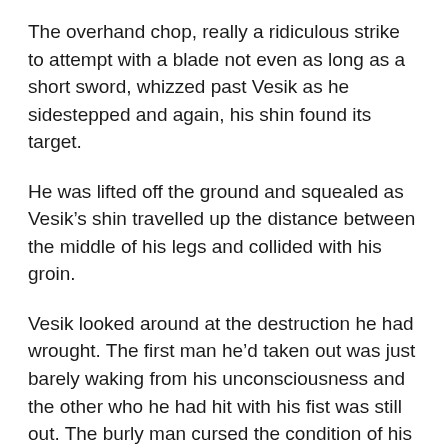The overhand chop, really a ridiculous strike to attempt with a blade not even as long as a short sword, whizzed past Vesik as he sidestepped and again, his shin found its target.
He was lifted off the ground and squealed as Vesik’s shin travelled up the distance between the middle of his legs and collided with his groin.
Vesik looked around at the destruction he had wrought. The first man he’d taken out was just barely waking from his unconsciousness and the other who he had hit with his fist was still out. The burly man cursed the condition of his knee and the man who had crushed it. The last thug openly sobbed as his trembling hands groped his testicles in a vain attempt at relief from the terrible pain afflicting him.